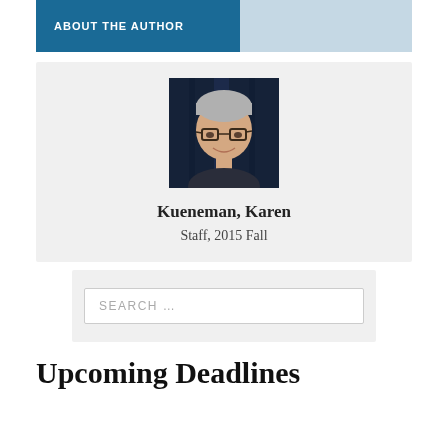ABOUT THE AUTHOR
[Figure (photo): Headshot photo of Karen Kueneman, a woman with short gray hair and glasses, smiling, with a dark blue curtain background]
Kueneman, Karen
Staff, 2015 Fall
SEARCH ...
Upcoming Deadlines